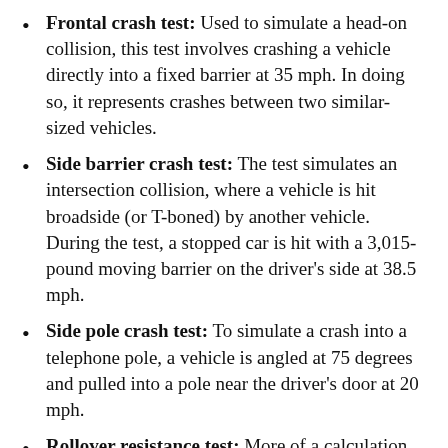Frontal crash test: Used to simulate a head-on collision, this test involves crashing a vehicle directly into a fixed barrier at 35 mph. In doing so, it represents crashes between two similar-sized vehicles.
Side barrier crash test: The test simulates an intersection collision, where a vehicle is hit broadside (or T-boned) by another vehicle. During the test, a stopped car is hit with a 3,015-pound moving barrier on the driver's side at 38.5 mph.
Side pole crash test: To simulate a crash into a telephone pole, a vehicle is angled at 75 degrees and pulled into a pole near the driver's door at 20 mph.
Rollover resistance test: More of a calculation than a crash test, this